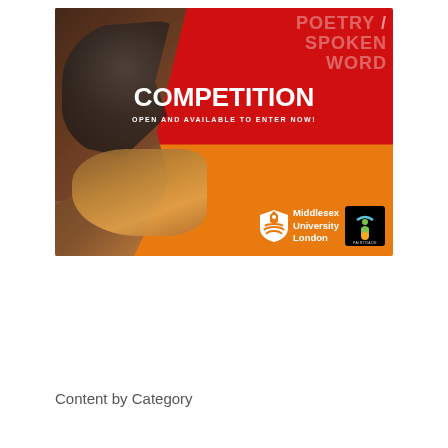[Figure (illustration): Poetry / Spoken Word Competition promotional banner. Red background with photo of metallic/stone sculpture on left side. Large bold white text reads POETRY / SPOKEN WORD COMPETITION. Subtext: OPEN AND AVAILABLE TO ENTER NOW! Orange diagonal section at bottom with Middlesex University London shield logo and Fairtrade logo.]
Search...
Content by Category